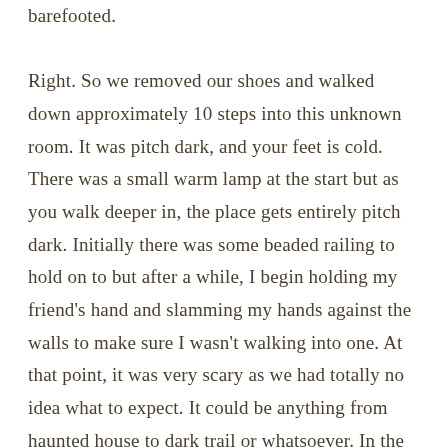barefooted.

Right. So we removed our shoes and walked down approximately 10 steps into this unknown room. It was pitch dark, and your feet is cold. There was a small warm lamp at the start but as you walk deeper in, the place gets entirely pitch dark. Initially there was some beaded railing to hold on to but after a while, I begin holding my friend's hand and slamming my hands against the walls to make sure I wasn't walking into one. At that point, it was very scary as we had totally no idea what to expect. It could be anything from haunted house to dark trail or whatsoever. In the end, there were a couple of people who ended up turning on their hand phone spotlight as it was simply too scary. In the end, when we made a turn, we saw this lighted